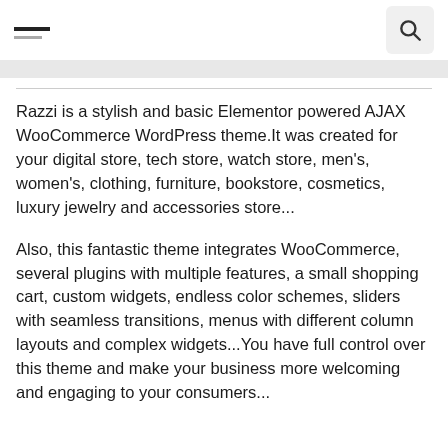[hamburger menu icon] [search icon]
Razzi is a stylish and basic Elementor powered AJAX WooCommerce WordPress theme.It was created for your digital store, tech store, watch store, men's, women's, clothing, furniture, bookstore, cosmetics, luxury jewelry and accessories store...
Also, this fantastic theme integrates WooCommerce, several plugins with multiple features, a small shopping cart, custom widgets, endless color schemes, sliders with seamless transitions, menus with different column layouts and complex widgets...You have full control over this theme and make your business more welcoming and engaging to your consumers...